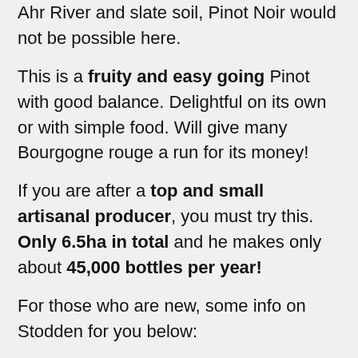Ahr River and slate soil, Pinot Noir would not be possible here.
This is a fruity and easy going Pinot with good balance. Delightful on its own or with simple food. Will give many Bourgogne rouge a run for its money!
If you are after a top and small artisanal producer, you must try this. Only 6.5ha in total and he makes only about 45,000 bottles per year!
For those who are new, some info on Stodden for you below:
The Stodden family has been dedicated to producing wine since 1578. Blessed with some of the most exceptional Grand Cru sites of the Ahr valley such as Herrenberg, where ungrated Pinot Noir is grown, Alexander Stodden today makes world class Pinot Noir with the unmistakable typicity of the Ahr – full bodied, ripe and fruity yet with juiciness and